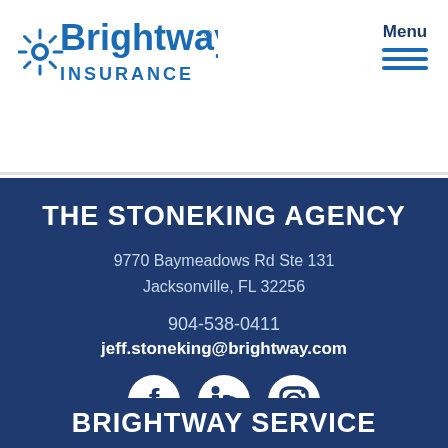[Figure (logo): Brightway Insurance logo with star/sunburst icon and text]
Menu
THE STONEKING AGENCY
9770 Baymeadows Rd Ste 131
Jacksonville, FL 32256
904-538-0411
jeff.stoneking@brightway.com
[Figure (illustration): Social media icons: Facebook, LinkedIn, Instagram]
BRIGHTWAY SERVICE